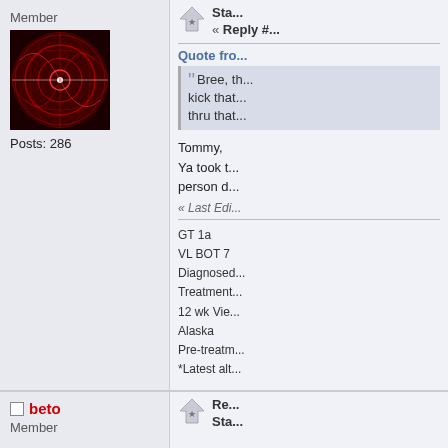Member
[Figure (photo): Red glowing radar/circular design avatar image]
Posts: 286
« Reply #...
Quote from...
Bree, th... kick that... thru that...
Tommy,
Ya took t...
person d...
« Last Edi...
GT 1a
VL BOT 7
Diagnosed...
Treatment...
12 wk Vie...
Alaska
Pre-treatm...
*Latest alt...
beto
Member
Re...
Sta...